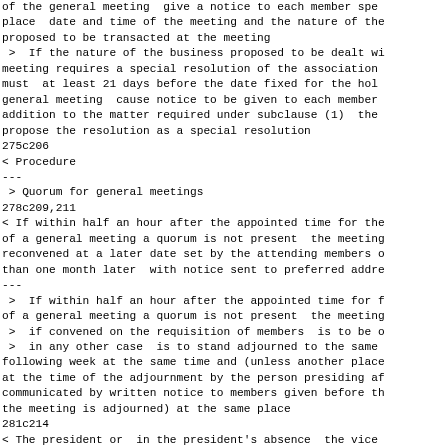of the general meeting  give a notice to each member spe place  date and time of the meeting and the nature of the proposed to be transacted at the meeting
> If the nature of the business proposed to be dealt wi meeting requires a special resolution of the association must  at least 21 days before the date fixed for the hol general meeting  cause notice to be given to each member addition to the matter required under subclause (1)  the propose the resolution as a special resolution
275c206
< Procedure
---
> Quorum for general meetings
278c209,211
< If within half an hour after the appointed time for the of a general meeting a quorum is not present  the meeting reconvened at a later date set by the attending members o than one month later  with notice sent to preferred addre
---
>  If within half an hour after the appointed time for f of a general meeting a quorum is not present  the meeting
>  if convened on the requisition of members  is to be o
>  in any other case  is to stand adjourned to the same following week at the same time and (unless another place at the time of the adjournment by the person presiding af communicated by written notice to members given before th the meeting is adjourned) at the same place
281c214
< The president or  in the president's absence  the vice to preside as chairperson at each general meeting of the